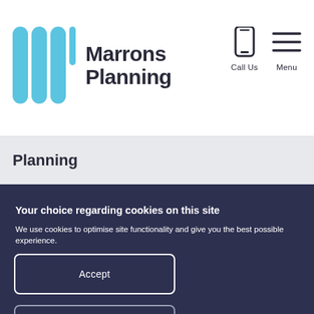[Figure (logo): Marrons Planning logo with blue vertical bar icons and bold dark text]
[Figure (other): Call Us phone icon with label]
[Figure (other): Menu hamburger icon with label]
Planning
Your choice regarding cookies on this site
We use cookies to optimise site functionality and give you the best possible experience.
Accept
Cookie Preferences